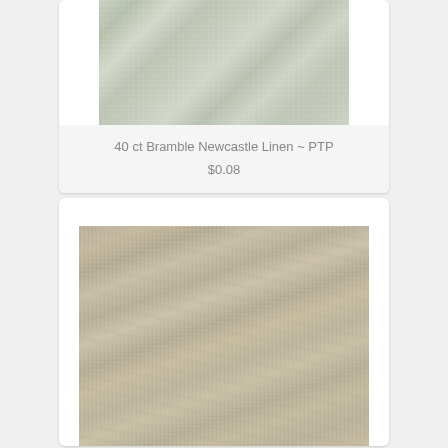[Figure (photo): Close-up photo of green-grey linen fabric texture (Bramble Newcastle Linen)]
40 ct Bramble Newcastle Linen ~ PTP
$0.08
[Figure (photo): Close-up photo of beige/tan woven linen fabric texture with visible weave grid pattern]